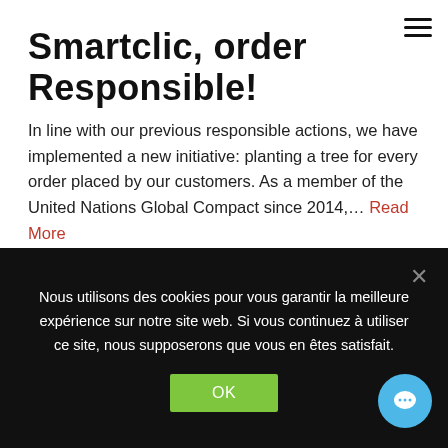Smartclic, order Responsible!
In line with our previous responsible actions, we have implemented a new initiative: planting a tree for every order placed by our customers. As a member of the United Nations Global Compact since 2014,… Read More
MARCH 3, 2021
[Figure (photo): Green background with text '2020 TENDANCES DSF PUBLICO' and a globe, article thumbnail image]
Nous utilisons des cookies pour vous garantir la meilleure expérience sur notre site web. Si vous continuez à utiliser ce site, nous supposerons que vous en êtes satisfait.
OK